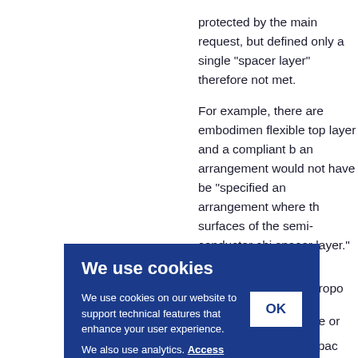protected by the main request, but defined only a single "spacer layer" therefore not met.
For example, there are embodiments flexible top layer and a compliant b an arrangement would not have be "specified an arrangement where th surfaces of the semi-conductor chi spacer layer." However, such an ar
propo he or
spac a "fle
ne Bo st in r ction
We use cookies

We use cookies on our website to support technical features that enhance your user experience.
We also use analytics. Access full information on cookies that we use and how to manage them